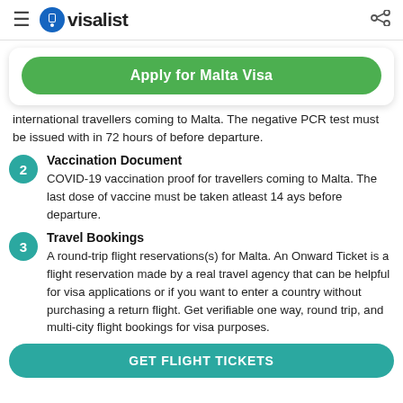visalist
Apply for Malta Visa
international travellers coming to Malta. The negative PCR test must be issued with in 72 hours of before departure.
2 Vaccination Document
COVID-19 vaccination proof for travellers coming to Malta. The last dose of vaccine must be taken atleast 14 ays before departure.
3 Travel Bookings
A round-trip flight reservations(s) for Malta. An Onward Ticket is a flight reservation made by a real travel agency that can be helpful for visa applications or if you want to enter a country without purchasing a return flight. Get verifiable one way, round trip, and multi-city flight bookings for visa purposes.
GET FLIGHT TICKETS